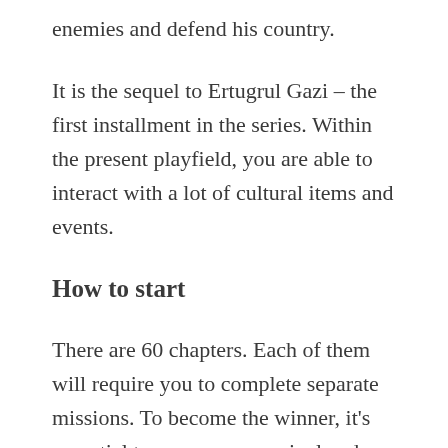enemies and defend his country.
It is the sequel to Ertugrul Gazi – the first installment in the series. Within the present playfield, you are able to interact with a lot of cultural items and events.
How to start
There are 60 chapters. Each of them will require you to complete separate missions. To become the winner, it's essential to remove every rival and remain alive.
There is a couple of companions. The horse helps you move faster while the wolf will